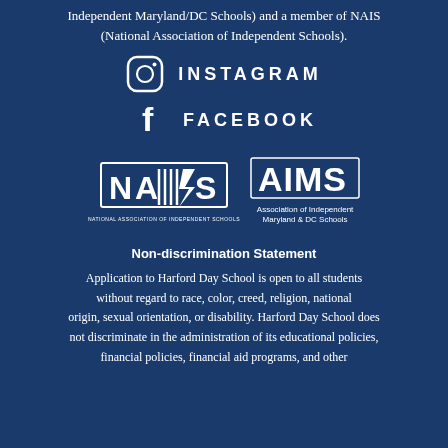Independent Maryland/DC Schools) and a member of NAIS (National Association of Independent Schools).
[Figure (logo): Instagram icon (camera outline) with text INSTAGRAM]
[Figure (logo): Facebook icon (f letter) with text FACEBOOK]
[Figure (logo): NAIS logo - National Association of Independent Schools]
[Figure (logo): AIMS logo - Association of Independent Maryland & DC Schools]
Non-discrimination Statement
Application to Harford Day School is open to all students without regard to race, color, creed, religion, national origin, sexual orientation, or disability. Harford Day School does not discriminate in the administration of its educational policies, financial policies, financial aid programs, and other